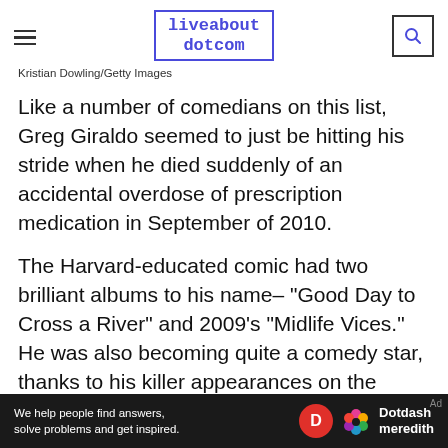liveabout dotcom
Kristian Dowling/Getty Images
Like a number of comedians on this list, Greg Giraldo seemed to just be hitting his stride when he died suddenly of an accidental overdose of prescription medication in September of 2010.
The Harvard-educated comic had two brilliant albums to his name– "Good Day to Cross a River" and 2009's "Midlife Vices." He was also becoming quite a comedy star, thanks to his killer appearances on the annual Comedy Central roasts.
His comedy style was smart and dark and bitingly
[Figure (infographic): Dotdash Meredith advertisement banner: 'We help people find answers, solve problems and get inspired.' with Dotdash Meredith logo]